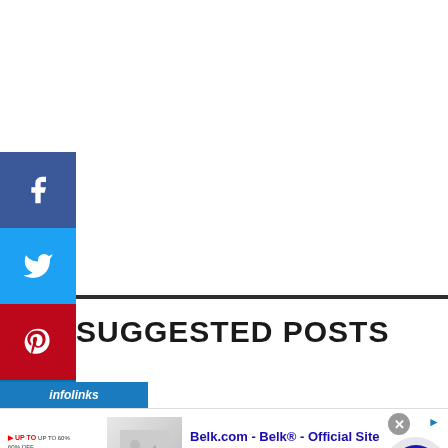[Figure (infographic): Social media sharing sidebar with Facebook, Twitter, Pinterest, LinkedIn, and Tumblr buttons on the left edge]
SUGGESTED POSTS
[Figure (infographic): Infolinks advertisement bar showing Belk.com - Belk® - Official Site ad with image and text]
Belk.com - Belk® - Official Site
Shop for clothing, handbags, jewelry, beauty, home & more!
www.belk.com